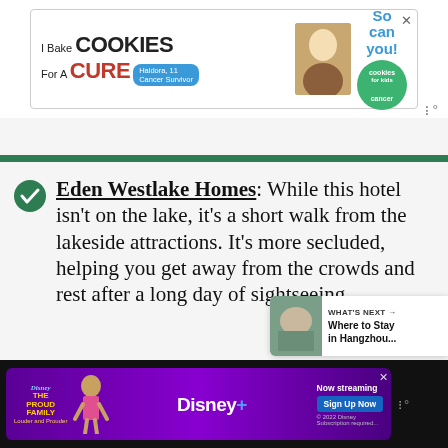[Figure (screenshot): Top advertisement banner: 'I Bake COOKIES For A CURE' with child cancer survivor Haldora, 11, and 'So can you! cookies for kids cancer' green badge]
[Figure (screenshot): Wordmark logo top right (III degrees symbol)]
Eden Westlake Homes: While this hotel isn't on the lake, it's a short walk from the lakeside attractions. It's more secluded, helping you get away from the crowds and rest after a long day of sightseeing.
[Figure (screenshot): Heart/like button (teal circle with heart icon), count of 1, and share button]
[Figure (screenshot): WHAT'S NEXT → Where to Stay in Hangzhou... card with thumbnail image]
[Figure (screenshot): Bottom advertisement: The Proud Family - Disney+ 'Now streaming, Sign Up Now' purple banner]
[Figure (screenshot): Wordmark logo bottom right (III degrees symbol)]